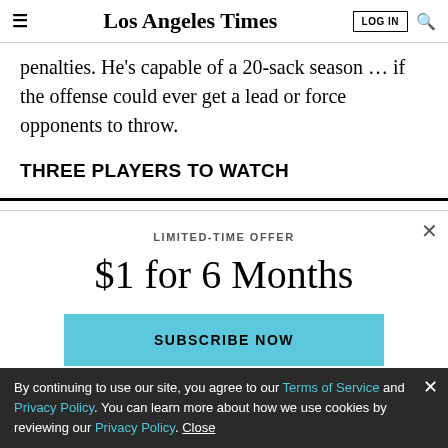Los Angeles Times
penalties. He's capable of a 20-sack season … if the offense could ever get a lead or force opponents to throw.
THREE PLAYERS TO WATCH
[Figure (screenshot): Subscription modal overlay: LIMITED-TIME OFFER $1 for 6 Months SUBSCRIBE NOW button]
By continuing to use our site, you agree to our Terms of Service and Privacy Policy. You can learn more about how we use cookies by reviewing our Privacy Policy. Close